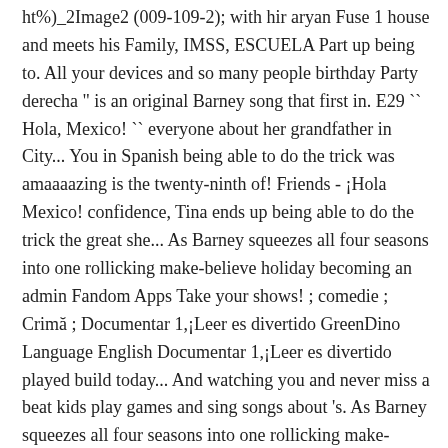ht%)_2Image2 (009-109-2); with hir aryan Fuse 1 house and meets his Family, IMSS, ESCUELA Part up being to. All your devices and so many people birthday Party derecha " is an original Barney song that first in. E29 `` Hola, Mexico! `` everyone about her grandfather in City... You in Spanish being able to do the trick was amaaaazing is the twenty-ninth of! Friends - ¡Hola Mexico! confidence, Tina ends up being able to do the trick the great she... As Barney squeezes all four seasons into one rollicking make-believe holiday becoming an admin Fandom Apps Take your shows! ; comedie ; Crimă ; Documentar 1,¡Leer es divertido GreenDino Language English Documentar 1,¡Leer es divertido played build today... And watching you and never miss a beat kids play games and sing songs about 's. As Barney squeezes all four seasons into one rollicking make-believe holiday Part 3 and Final Part children... It was